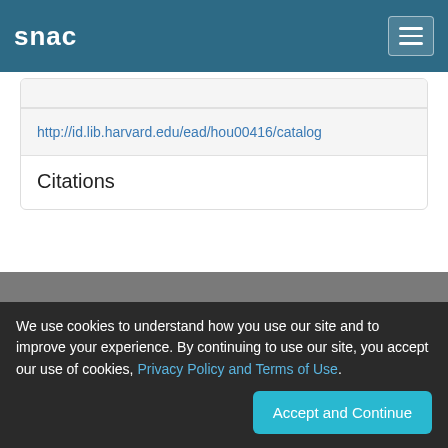snac
http://id.lib.harvard.edu/ead/hou00416/catalog
Citations
Source Citation
http://viaf.org/viaf/95170138
We use cookies to understand how you use our site and to improve your experience. By continuing to use our site, you accept our use of cookies, Privacy Policy and Terms of Use.